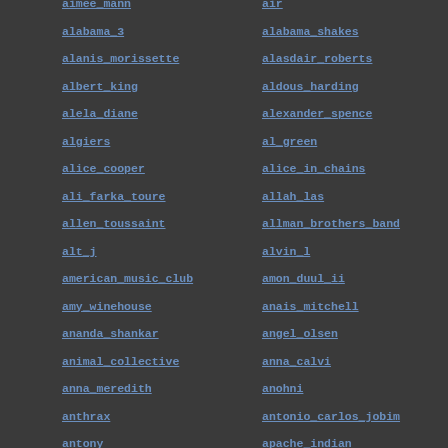aimee_mann
air
alabama_3
alabama_shakes
alanis_morissette
alasdair_roberts
albert_king
aldous_harding
alela_diane
alexander_spence
algiers
al_green
alice_cooper
alice_in_chains
ali_farka_toure
allah_las
allen_toussaint
allman_brothers_band
alt_j
alvin_l
american_music_club
amon_duul_ii
amy_winehouse
anais_mitchell
ananda_shankar
angel_olsen
animal_collective
anna_calvi
anna_meredith
anohni
anthrax
antonio_carlos_jobim
antony
apache_indian